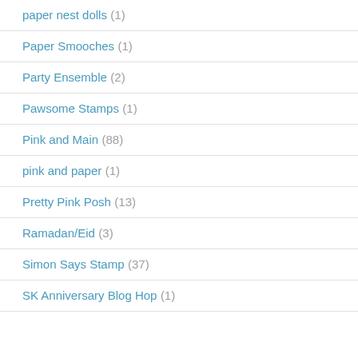paper nest dolls (1)
Paper Smooches (1)
Party Ensemble (2)
Pawsome Stamps (1)
Pink and Main (88)
pink and paper (1)
Pretty Pink Posh (13)
Ramadan/Eid (3)
Simon Says Stamp (37)
SK Anniversary Blog Hop (1)